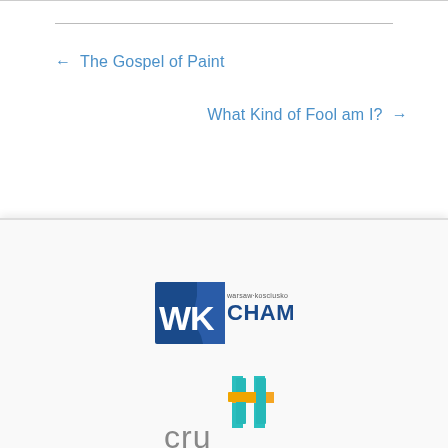← The Gospel of Paint
What Kind of Fool am I? →
[Figure (logo): Warsaw Kosciusko (WK) Chamber of Commerce logo — dark blue stylized WK letters with Indiana state shape, text 'warsaw·kosciusko CHAMBER']
[Figure (logo): Cru logo — colorful cross made of teal and yellow/orange stripes, with lowercase 'cru' text in gray]